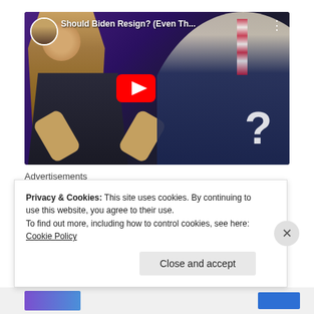[Figure (screenshot): YouTube video thumbnail showing a man with long hair in a suit gesturing with hands raised, next to an older man looking down at a podium. Title reads 'Should Biden Resign? (Even Th...' with YouTube play button overlay and a question mark graphic.]
Advertisements
[Figure (logo): Pressable logo — blue square with white P letter, followed by text 'Pressable' in bold]
Privacy & Cookies: This site uses cookies. By continuing to use this website, you agree to their use.
To find out more, including how to control cookies, see here: Cookie Policy
Close and accept